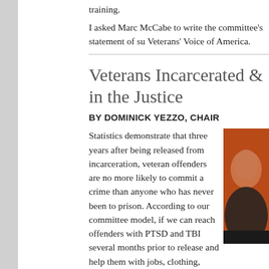training.
I asked Marc McCabe to write the committee's statement of su Veterans' Voice of America.
Veterans Incarcerated & in the Justice
BY DOMINICK YEZZO, CHAIR
Statistics demonstrate that three years after being released from incarceration, veteran offenders are no more likely to commit a crime than anyone who has never been to prison. According to our committee model, if we can reach offenders with PTSD and TBI several months prior to release and help them with jobs, clothing, housing, and mentoring, we can get them to the three-year mark.
[Figure (photo): Portrait photo of a person against an orange/red background]
The model conceived by Philip DeVol, Michelle Wood, and Mitchel Libster, the authors of Getting Ahead While Getting adapted to fit the needs of veterans who are not career crimina have depraved thoughts and actions—veterans, that is, who se having a hard time continuing to make good decisions.